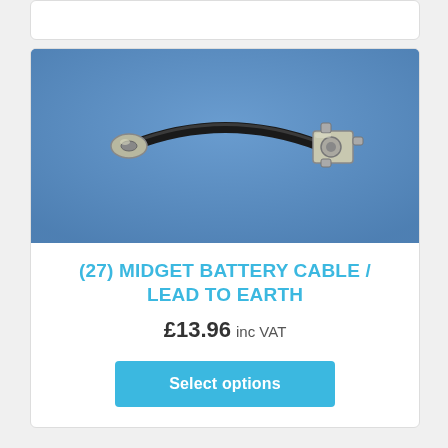[Figure (photo): Black battery cable/earth lead with a flat eye terminal on the left end and a battery post clamp connector on the right end, photographed on a blue background.]
(27) MIDGET BATTERY CABLE / LEAD TO EARTH
£13.96 inc VAT
Select options